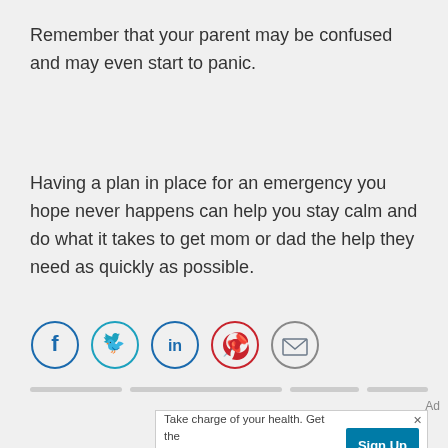Remember that your parent may be confused and may even start to panic.
Having a plan in place for an emergency you hope never happens can help you stay calm and do what it takes to get mom or dad the help they need as quickly as possible.
[Figure (other): Row of five social sharing icon circles: Facebook (blue), Twitter (light blue), LinkedIn (blue), Pinterest (red), Email/envelope (gray)]
Ad
Take charge of your health. Get the latest news from Health Essentials  Sign Up